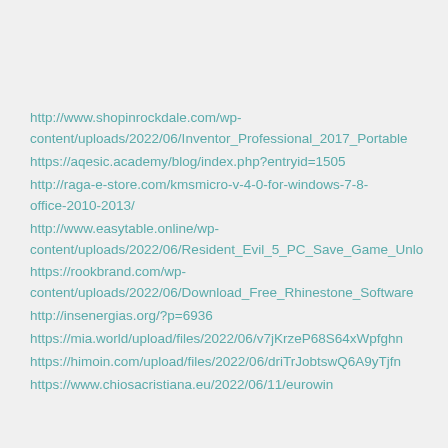http://www.shopinrockdale.com/wp-content/uploads/2022/06/Inventor_Professional_2017_Portable
https://aqesic.academy/blog/index.php?entryid=1505
http://raga-e-store.com/kmsmicro-v-4-0-for-windows-7-8-office-2010-2013/
http://www.easytable.online/wp-content/uploads/2022/06/Resident_Evil_5_PC_Save_Game_Unlo
https://rookbrand.com/wp-content/uploads/2022/06/Download_Free_Rhinestone_Software
http://insenergias.org/?p=6936
https://mia.world/upload/files/2022/06/v7jKrzeP68S64xWpfghn
https://himoin.com/upload/files/2022/06/driTrJobtswQ6A9yTjfn
https://www.chiosacristiana.eu/2022/06/11/eurowin